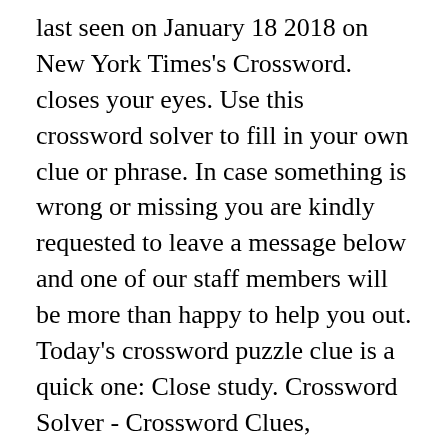last seen on January 18 2018 on New York Times's Crossword. closes your eyes. Use this crossword solver to fill in your own clue or phrase. In case something is wrong or missing you are kindly requested to leave a message below and one of our staff members will be more than happy to help you out. Today's crossword puzzle clue is a quick one: Close study. Crossword Solver - Crossword Clues, synonyms, anagrams and definition of study ... BROWN STUDY - CANVASSING - CHEW THE CUD - CLOSE STUDY - COLLOQUIUM ... (green and red arrows) near the top of the page to let us know if we're helping with this clue. This clue belongs to Mirror Cryptic Crossword